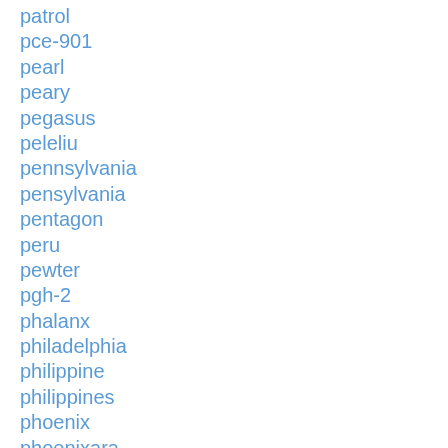patrol
pce-901
pearl
peary
pegasus
peleliu
pennsylvania
pensylvania
pentagon
peru
pewter
pgh-2
phalanx
philadelphia
philippine
philippines
phoenix
phoenixara
photo
photograph
photos
picture